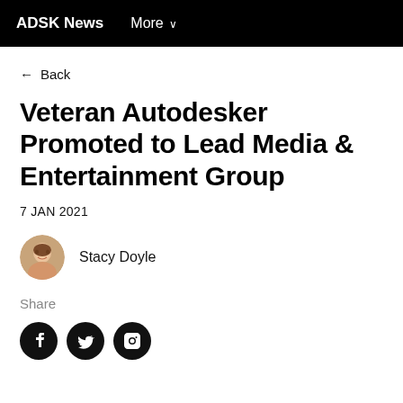ADSK News   More
← Back
Veteran Autodesker Promoted to Lead Media & Entertainment Group
7 JAN 2021
Stacy Doyle
Share